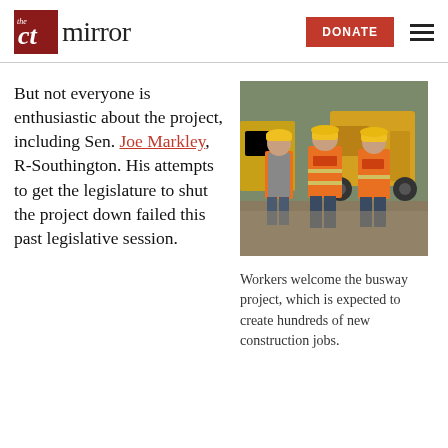the CT mirror | DONATE
But not everyone is enthusiastic about the project, including Sen. Joe Markley, R-Southington. His attempts to get the legislature to shut the project down failed this past legislative session.
[Figure (photo): Three construction workers in orange high-visibility vests and yellow hard hats standing and talking at a construction site with heavy machinery in the background.]
Workers welcome the busway project, which is expected to create hundreds of new construction jobs.